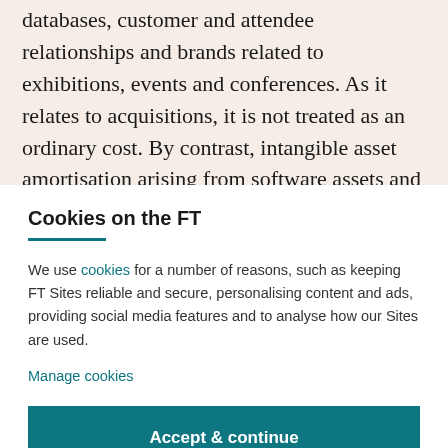databases, customer and attendee relationships and brands related to exhibitions, events and conferences. As it relates to acquisitions, it is not treated as an ordinary cost. By contrast, intangible asset amortisation arising from software assets and product development is treated as an ordinary cost in the calculation of operating profit, so is
Cookies on the FT
We use cookies for a number of reasons, such as keeping FT Sites reliable and secure, personalising content and ads, providing social media features and to analyse how our Sites are used.
Manage cookies
Accept & continue